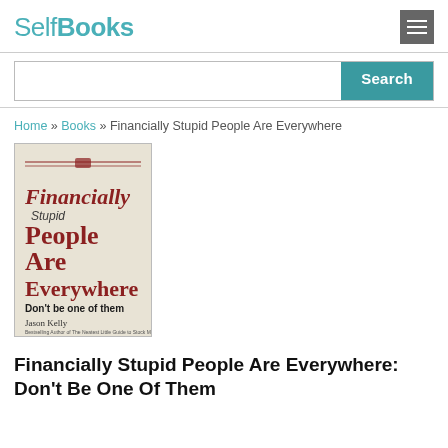SelfBooks
[Figure (screenshot): Search bar with teal Search button]
Home » Books » Financially Stupid People Are Everywhere
[Figure (photo): Book cover: Financially Stupid People Are Everywhere: Don't Be One Of Them by Jason Kelly]
Financially Stupid People Are Everywhere: Don't Be One Of Them